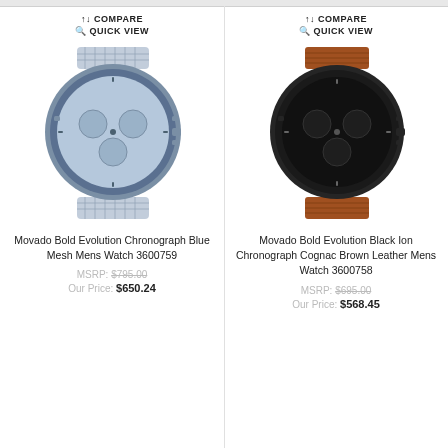↑↓ COMPARE
🔍 QUICK VIEW
[Figure (photo): Movado Bold Evolution Chronograph Blue Mesh Mens Watch with blue dial and mesh bracelet]
Movado Bold Evolution Chronograph Blue Mesh Mens Watch 3600759
MSRP: $795.00
Our Price: $650.24
↑↓ COMPARE
🔍 QUICK VIEW
[Figure (photo): Movado Bold Evolution Black Ion Chronograph Cognac Brown Leather Mens Watch with black dial and brown leather strap]
Movado Bold Evolution Black Ion Chronograph Cognac Brown Leather Mens Watch 3600758
MSRP: $695.00
Our Price: $568.45